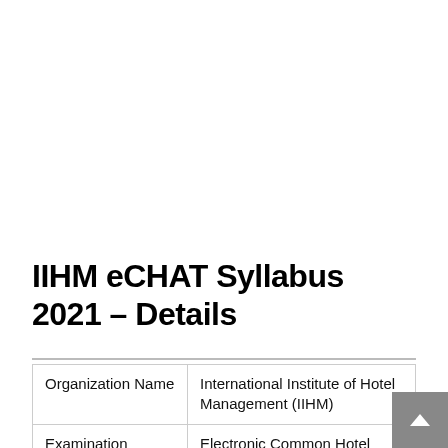IIHM eCHAT Syllabus 2021 – Details
| Organization Name | International Institute of Hotel Management (IIHM) |
| Examination | Electronic Common Hotel |